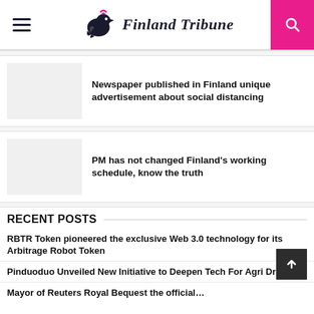Finland Tribune
[Figure (photo): Thumbnail image placeholder for article about newspaper social distancing advertisement]
Newspaper published in Finland unique advertisement about social distancing
[Figure (photo): Thumbnail image placeholder for article about PM Finland working schedule]
PM has not changed Finland's working schedule, know the truth
RECENT POSTS
RBTR Token pioneered the exclusive Web 3.0 technology for its Arbitrage Robot Token
Pinduoduo Unveiled New Initiative to Deepen Tech For Agri Drive